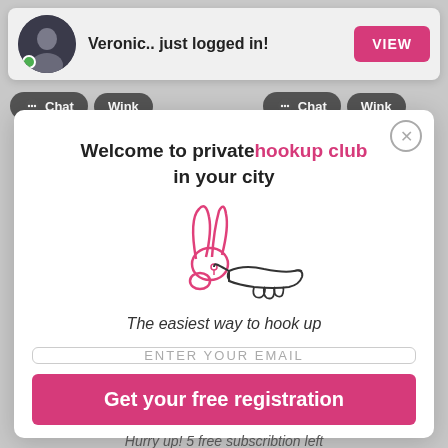Veronic.. just logged in!
VIEW
Chat  Wink  Chat  Wink
Welcome to privatehookup club in your city
[Figure (illustration): Hand-drawn style illustration of a rabbit (pink outline) touching fingers with a hand (black outline), suggesting a hook up gesture]
The easiest way to hook up
ENTER YOUR EMAIL
Get your free registration
Hurry up! 5 free subscribtion left